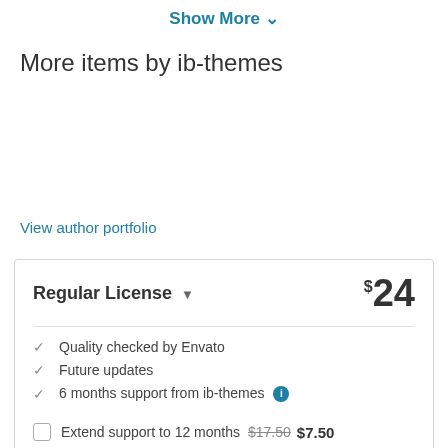Show More ▾
More items by ib-themes
View author portfolio
Regular License  $24
Quality checked by Envato
Future updates
6 months support from ib-themes
Extend support to 12 months  $17.50  $7.50